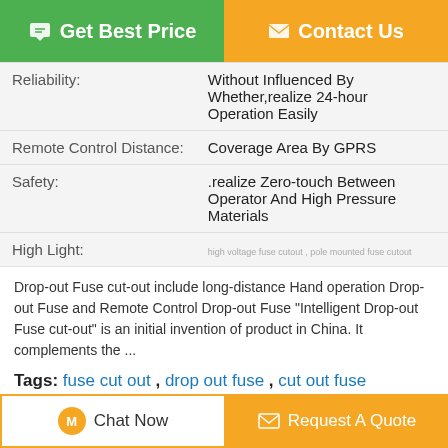[Figure (other): Two buttons: green 'Get Best Price' and orange 'Contact Us']
| Field | Value |
| --- | --- |
| Reliability: | Without Influenced By Whether,realize 24-hour Operation Easily |
| Remote Control Distance: | Coverage Area By GPRS |
| Safety: | .realize Zero-touch Between Operator And High Pressure Materials |
| High Light: | (small tag text) |
Drop-out Fuse cut-out include long-distance Hand operation Drop-out Fuse and Remote Control Drop-out Fuse “Intelligent Drop-out Fuse cut-out” is an initial invention of product in China. It complements the ...
Tags: fuse cut out , drop out fuse , cut out fuse
Product Description >
Get the Best Price for
[Figure (other): Partial product image at bottom of 'Get the Best Price for' box]
[Figure (other): Bottom bar with Chat Now and Request A Quote buttons]